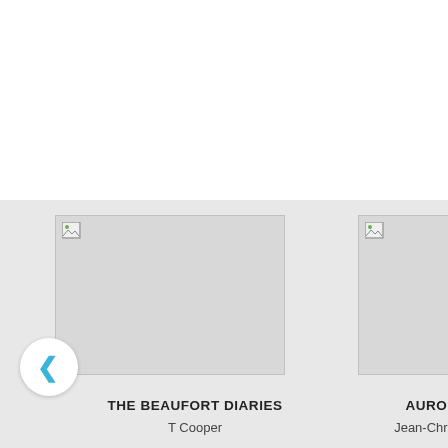[Figure (screenshot): Book cover placeholder for THE BEAUFORT DIARIES (broken image icon)]
[Figure (screenshot): Book cover placeholder for AURORARAMA (broken image icon)]
THE BEAUFORT DIARIES
T Cooper
AURORARAMA
Jean-Christophe Valta